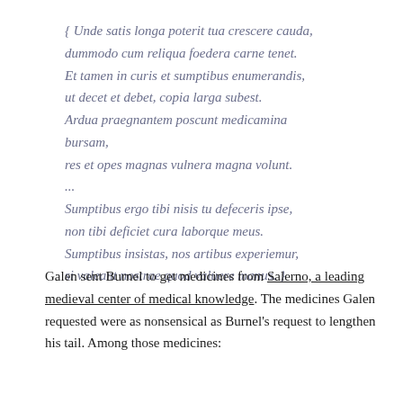{ Unde satis longa poterit tua crescere cauda, dummodo cum reliqua foedera carne tenet. Et tamen in curis et sumptibus enumerandis, ut decet et debet, copia larga subest. Ardua praegnantem poscunt medicamina bursam, res et opes magnas vulnera magna volunt. ... Sumptibus ergo tibi nisis tu defeceris ipse, non tibi deficiet cura laborque meus. Sumptibus insistas, nos artibus experiemur, si valeant nostrae quod valuere manus. }
Galen sent Burnel to get medicines from Salerno, a leading medieval center of medical knowledge. The medicines Galen requested were as nonsensical as Burnel's request to lengthen his tail. Among those medicines: